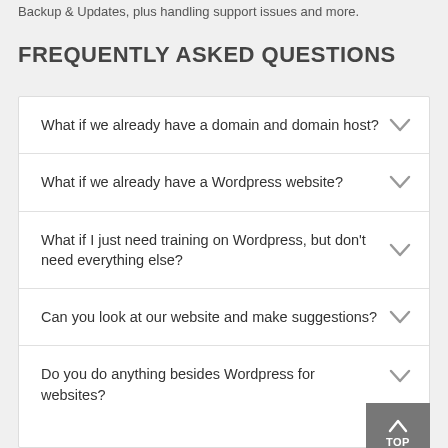Backup & Updates, plus handling support issues and more.
FREQUENTLY ASKED QUESTIONS
What if we already have a domain and domain host?
What if we already have a Wordpress website?
What if I just need training on Wordpress, but don't need everything else?
Can you look at our website and make suggestions?
Do you do anything besides Wordpress for websites?